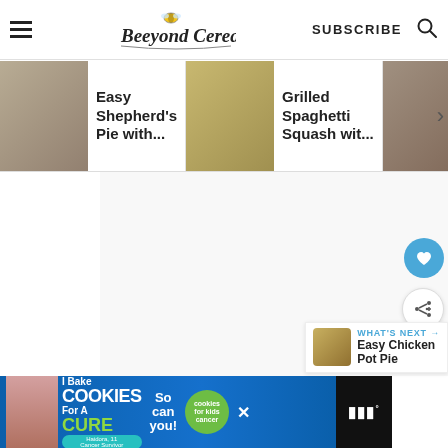Beeyond Cereal | SUBSCRIBE
[Figure (screenshot): Horizontal carousel showing food blog article thumbnails: Easy Shepherd's Pie with..., Grilled Spaghetti Squash wit..., Cornbread Tamale Pi...]
Browned ground beef
Onion
[Figure (screenshot): Ad banner: I Bake COOKIES For A CURE - Haidora, 11 Cancer Survivor - So can you! - cookies for kids cancer logo]
WHAT'S NEXT → Easy Chicken Pot Pie